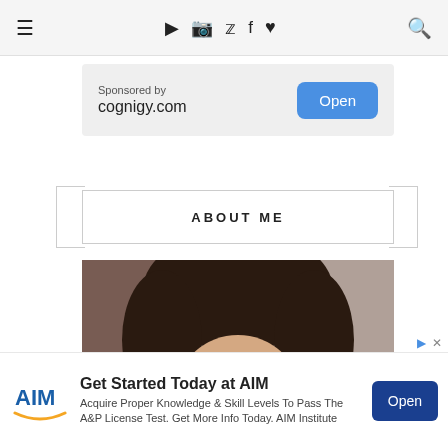≡  ▶  📷  🐦  f  ♥  🔍
[Figure (infographic): Sponsored advertisement box for cognigy.com with an Open button]
ABOUT ME
[Figure (photo): Portrait photo of a young woman with dark wavy hair, hands raised near her head, smiling slightly]
[Figure (infographic): Bottom advertisement for AIM Institute: Get Started Today at AIM. Acquire Proper Knowledge & Skill Levels To Pass The A&P License Test. Get More Info Today. AIM Institute. Open button.]